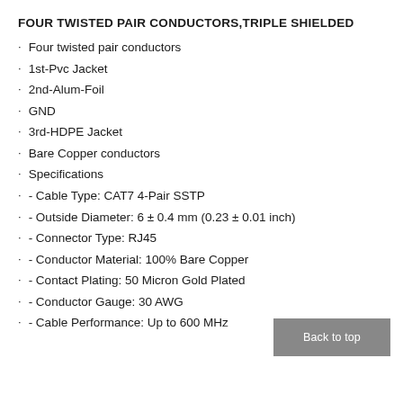FOUR TWISTED PAIR CONDUCTORS,TRIPLE SHIELDED
Four twisted pair conductors
1st-Pvc Jacket
2nd-Alum-Foil
GND
3rd-HDPE Jacket
Bare Copper conductors
Specifications
- Cable Type: CAT7 4-Pair SSTP
- Outside Diameter: 6 ± 0.4 mm (0.23 ± 0.01 inch)
- Connector Type: RJ45
- Conductor Material: 100% Bare Copper
- Contact Plating: 50 Micron Gold Plated
- Conductor Gauge: 30 AWG
- Cable Performance: Up to 600 MHz